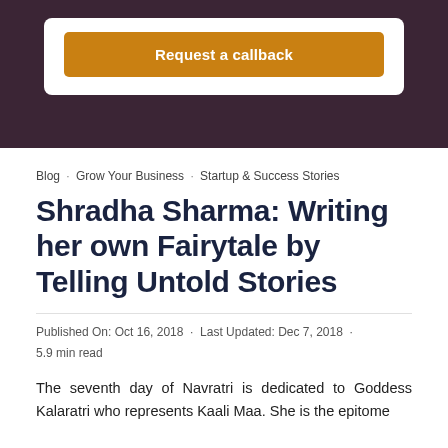[Figure (other): Orange 'Request a callback' button inside a white card, set against a dark purple/maroon background]
Blog · Grow Your Business · Startup & Success Stories
Shradha Sharma: Writing her own Fairytale by Telling Untold Stories
Published On: Oct 16, 2018 · Last Updated: Dec 7, 2018 · 5.9 min read
The seventh day of Navratri is dedicated to Goddess Kalaratri who represents Kaali Maa. She is the epitome